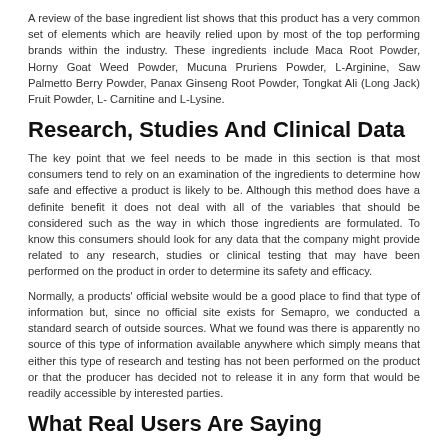A review of the base ingredient list shows that this product has a very common set of elements which are heavily relied upon by most of the top performing brands within the industry. These ingredients include Maca Root Powder, Horny Goat Weed Powder, Mucuna Pruriens Powder, L-Arginine, Saw Palmetto Berry Powder, Panax Ginseng Root Powder, Tongkat Ali (Long Jack) Fruit Powder, L- Carnitine and L-Lysine.
Research, Studies And Clinical Data
The key point that we feel needs to be made in this section is that most consumers tend to rely on an examination of the ingredients to determine how safe and effective a product is likely to be. Although this method does have a definite benefit it does not deal with all of the variables that should be considered such as the way in which those ingredients are formulated. To know this consumers should look for any data that the company might provide related to any research, studies or clinical testing that may have been performed on the product in order to determine its safety and efficacy.
Normally, a products' official website would be a good place to find that type of information but, since no official site exists for Semapro, we conducted a standard search of outside sources. What we found was there is apparently no source of this type of information available anywhere which simply means that either this type of research and testing has not been performed on the product or that the producer has decided not to release it in any form that would be readily accessible by interested parties.
What Real Users Are Saying
It is common knowledge that the vast majority of companies tend to utilize